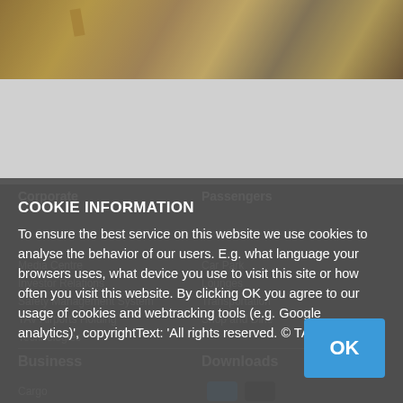[Figure (photo): Top banner photo of an airport terminal interior, warm tones]
Corporate
Passengers
Media Centre
Car Park
Investor Relations
Lounges
Safety Management System
Transportation
TAV Airports Holding
Shop and Dine
Technologies
COOKIE INFORMATION
To ensure the best service on this website we use cookies to analyse the behavior of our users. E.g. what language your browsers uses, what device you use to visit this site or how often you visit this website. By clicking OK you agree to our usage of cookies and webtracking tools (e.g. Google analytics)', copyrightText: 'All rights reserved. © TAV
Business
Downloads
Cargo